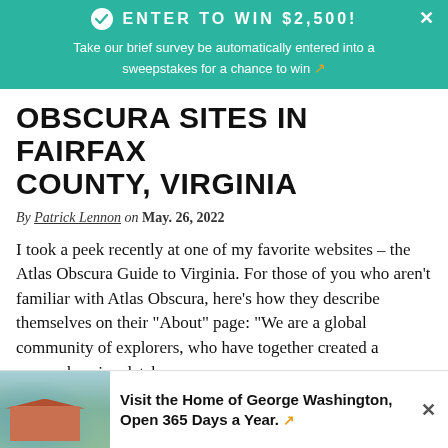ENTER TO WIN $2,500!
Take our brief survey be automatically entered into a sweepstakes for a chance to win ↗
OBSCURA SITES IN FAIRFAX COUNTY, VIRGINIA
By Patrick Lennon on May. 26, 2022
I took a peek recently at one of my favorite websites – the Atlas Obscura Guide to Virginia. For those of you who aren't familiar with Atlas Obscura, here's how they describe themselves on their "About" page: "We are a global community of explorers, who have together created a comprehensive database...
Read More ↗
Visit the Home of George Washington, Open 365 Days a Year. ↗